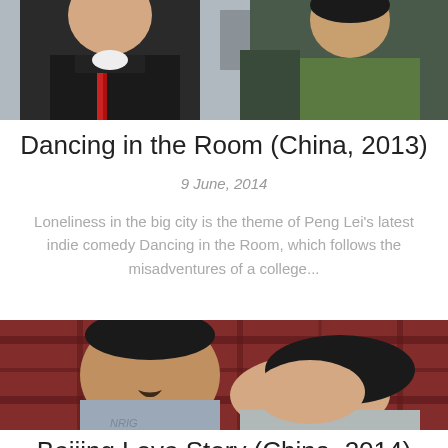[Figure (photo): Two people in winter coats on a balcony, a woman in a black coat with red trim on the left and a man in a dark jacket on the right, with a city background]
Dancing in the Room (China, 2013)
9 June, 2014
Loneliness in the big city is the theme of Peng Lei’s latest indie comedy Dancing in the Room, which follows the misadventures of a college...
[Figure (photo): A man and a woman lying on a plaid blanket/bed, the woman resting her head on the man, both looking at the camera]
Beijing Love Story (China, 2014)